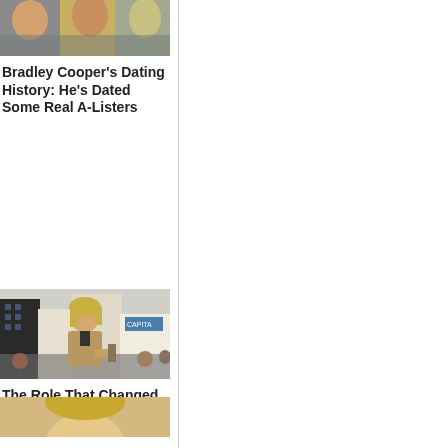[Figure (photo): Top cropped photo showing people, partially visible at top]
Bradley Cooper's Dating History: He's Dated Some Real A-Listers
[Figure (photo): Photo of a man with long blonde hair wearing a tan jacket at an outdoor event with crowds in background]
The Role That Changed Wilson's Life: Owen's Rise To Fame
[Figure (photo): Bottom cropped photo showing blonde person, partially visible]